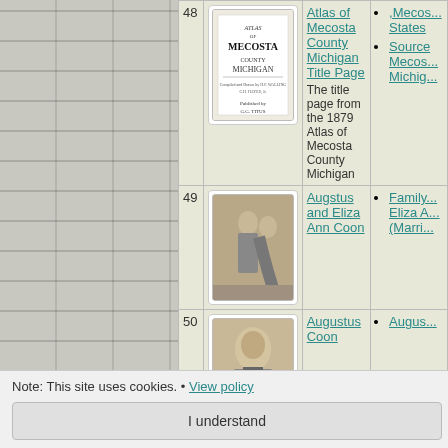| # | Image | Title/Description | Links |
| --- | --- | --- | --- |
| 48 | [Atlas of Mecosta County Michigan image] | Atlas of Mecosta County Michigan Title Page
The title page from the 1879 Atlas of Mecosta County Michigan | ,Mecos... States
Source Mecos... Michig... |
| 49 | [Augstus and Eliza Ann Coon portrait] | Augstus and Eliza Ann Coon | Family... Eliza A... (Marri... |
| 50 | [Augustus Coon portrait] | Augustus Coon | Augus... |
Note: This site uses cookies. • View policy
I understand